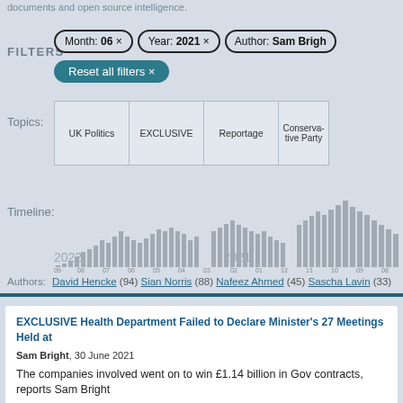documents and open source intelligence.
FILTERS
Month: 06 ×   Year: 2021 ×   Author: Sam Brigh
Reset all filters ×
Topics:
UK Politics | EXCLUSIVE | Reportage | Conservative Party
[Figure (bar-chart): Timeline histogram showing article publication frequency across months from 2021 to 2022]
Timeline:
Authors: David Hencke (94)  Sian Norris (88)  Nafeez Ahmed (45)  Sascha Lavin (33)
EXCLUSIVE Health Department Failed to Declare Minister's 27 Meetings Held at
Sam Bright, 30 June 2021
The companies involved went on to win £1.14 billion in Gov contracts, reports Sam Bright